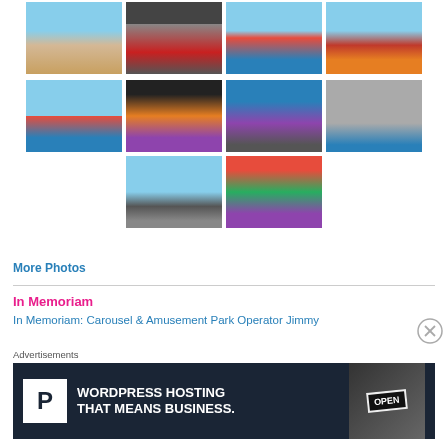[Figure (photo): Grid of 10 thumbnail photos showing beach scenes, carnival rides, amusement park attractions, street scenes, and colorful murals]
More Photos
In Memoriam
In Memoriam: Carousel & Amusement Park Operator Jimmy
Advertisements
[Figure (screenshot): WordPress Hosting advertisement banner with 'WORDPRESS HOSTING THAT MEANS BUSINESS.' text and P logo, with OPEN sign photo on right]